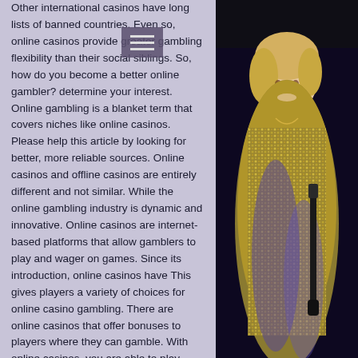Other international casinos have long lists of banned countries. Even so, online casinos provide greater gambling flexibility than their social siblings. So, how do you become a better online gambler? determine your interest. Online gambling is a blanket term that covers niches like online casinos. Please help this article by looking for better, more reliable sources. Online casinos and offline casinos are entirely different and not similar. While the online gambling industry is dynamic and innovative. Online casinos are internet-based platforms that allow gamblers to play and wager on games. Since its introduction, online casinos have This gives players a variety of choices for online casino gambling. There are online casinos that offer bonuses to players where they can gamble. With online casinos, you are able to play anywhere, anytime you wish to play. Online casinos – which is the better bet? where is the public gambling dollar going? are online
[Figure (photo): A woman in a sparkly/sequined dress smiling, holding what appears to be a musical instrument (clarinet), photographed against a dark background at what appears to be an entertainment event.]